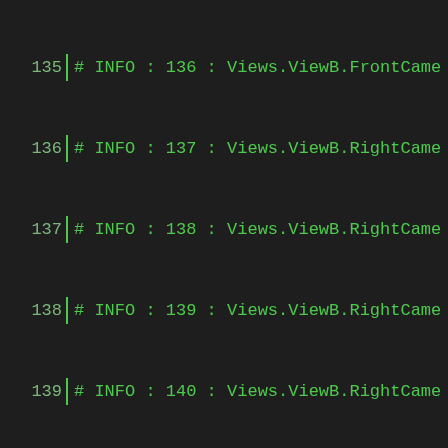135  # INFO : 136 : Views.ViewB.FrontCame
136  # INFO : 137 : Views.ViewB.RightCame
137  # INFO : 138 : Views.ViewB.RightCame
138  # INFO : 139 : Views.ViewB.RightCame
139  # INFO : 140 : Views.ViewB.RightCame
140  # INFO : 141 : GetObjectFromID2 fail
141  # INFO : 142 : Views.ViewB.RightCame
142  # INFO : 143 : Views.ViewB.RightCame
143  # INFO : 144 : Views.ViewB.RightCame
144  # INFO : 145 : Views.ViewB.SpotCamer
145  # INFO : 146 : Views.ViewB.SpotCamer
146  # INFO : 147 : Views.ViewB.SpotCamer
147  # INFO : 148 : Views.ViewB.SpotCamer
148  # INFO : 149 : SymmetryProperties
149  # INFO : 150 : GetObjectFromID2 fail
150  # INFO : 151 : TransformProperties
151  # INFO : 152 : GetObjectFromID2 fail
152  # INFO : 153 : GetObjectFromID2 fail
153  # INFO : 154 : GetObjectFromID2 fail
154  # INFO : 155 : GetObjectFromID2 fail
155  # INFO : 156 : GetObjectFromID2 fail
156  # INFO : 157 : RefPlanes.View
157  # INFO : 158 : RefPlanes.XY
158  # INFO : 159 : RefPlanes.XZ
159  # INFO : 160 : RefPlanes.YZ
160  # INFO : 161 : RefPlanes.Transform